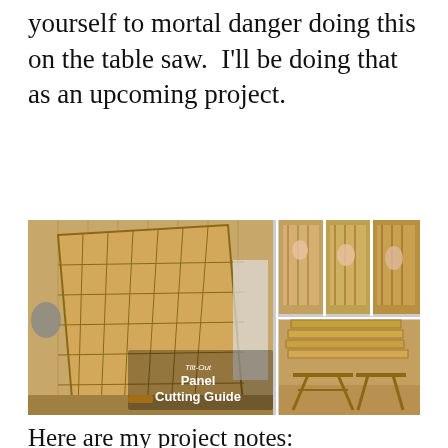yourself to mortal danger doing this on the table saw.  I'll be doing that as an upcoming project.
[Figure (photo): Composite photo showing a tilt-out panel cutting guide woodworking project. The main large photo shows a wooden panel cutting guide leaning at an angle in a workshop. Three smaller photos on the top right show close-up steps of assembly. One photo on the bottom right shows lumber stored in a wooden frame. White text overlay reads 'Tilt-Out Panel Cutting Guide'.]
Here are my project notes:
[Figure (photo): Partial view of a laptop or tablet screen showing handwritten project notes with 'TOTAL' and 'NEEDED' labels visible.]